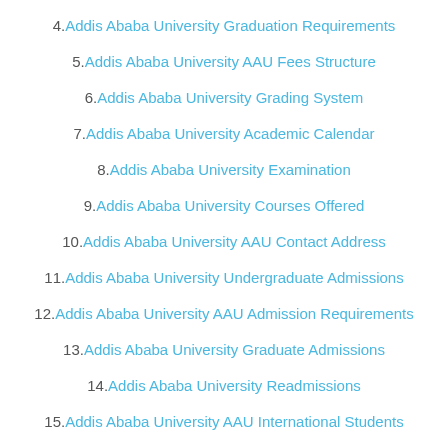4.Addis Ababa University Graduation Requirements
5.Addis Ababa University AAU Fees Structure
6.Addis Ababa University Grading System
7.Addis Ababa University Academic Calendar
8.Addis Ababa University Examination
9.Addis Ababa University Courses Offered
10.Addis Ababa University AAU Contact Address
11.Addis Ababa University Undergraduate Admissions
12.Addis Ababa University AAU Admission Requirements
13.Addis Ababa University Graduate Admissions
14.Addis Ababa University Readmissions
15.Addis Ababa University AAU International Students